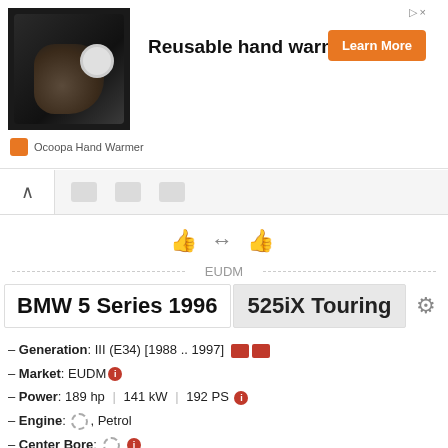[Figure (screenshot): Advertisement banner for Ocoopa Hand Warmer showing a hand holding a round device, with 'Reusable hand warmer' headline, Learn More button, and brand name.]
[Figure (screenshot): Browser navigation tab bar with back arrow and placeholder tabs]
[Figure (infographic): Compare icons with arrows between two thumbs-up icons]
EUDM
BMW 5 Series 1996   525iX Touring
– Generation: III (E34) [1988 .. 1997]
– Market: EUDM
– Power: 189 hp  |  141 kW  |  192 PS
– Engine: , Petrol
– Center Bore:
– PCD:
– Wheel Fasteners: Lug bolts
– Wheel Tightening Torque:
– Thread Size:
– Trim Production: [1991 .. 1997]